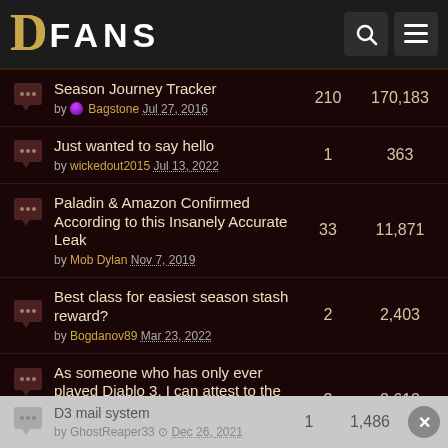DFans
Season Journey Tracker by Bagstone Jul 27, 2016 | 210 | 170,183
Just wanted to say hello by wickedout2015 Jul 13, 2022 | 1 | 363
Paladin & Amazon Confirmed According to this Insanely Accurate Leak by Mob Dylan Nov 7, 2019 | 33 | 11,871
Best class for easiest season stash reward? by Bogdanov89 Mar 23, 2022 | 2 | 2,403
As someone who has only ever played Diablo 3, I can attest to the fact that it is a fantastic game. by luffy66 Dec 26, 2021 | 3 | 2,612
D3 mail system by GhostReaper33 Dec 26, 2021 | 1 | 1,486